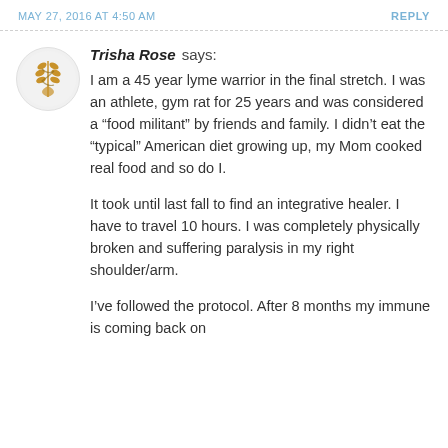MAY 27, 2016 AT 4:50 AM    REPLY
[Figure (logo): Circular avatar icon with a golden wheat/DNA double-helix logo on a light gray background]
Trisha Rose says:
I am a 45 year lyme warrior in the final stretch. I was an athlete, gym rat for 25 years and was considered a “food militant” by friends and family. I didn’t eat the “typical” American diet growing up, my Mom cooked real food and so do I.

It took until last fall to find an integrative healer. I have to travel 10 hours. I was completely physically broken and suffering paralysis in my right shoulder/arm.

I’ve followed the protocol. After 8 months my immune is coming back on